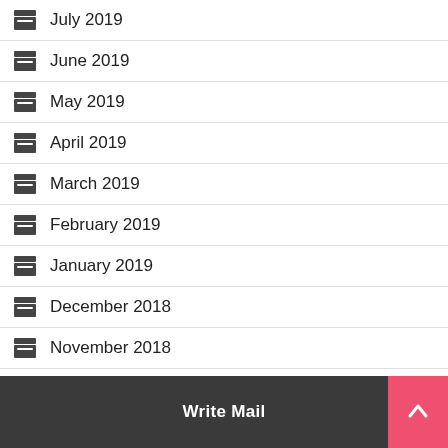July 2019
June 2019
May 2019
April 2019
March 2019
February 2019
January 2019
December 2018
November 2018
March 2018
Write Mail